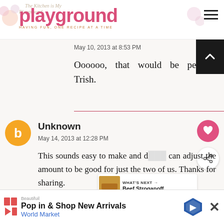The Kitchen Is My Playground
May 10, 2013 at 8:53 PM
Oooooo, that would be perfect, Trish.
Unknown
May 14, 2013 at 12:28 PM
This sounds easy to make and d... can adjust the amount to be good for just the two of us. Thanks for sharing.
WHAT'S NEXT → Beef Stroganoff...
Pop in & Shop New Arrivals World Market